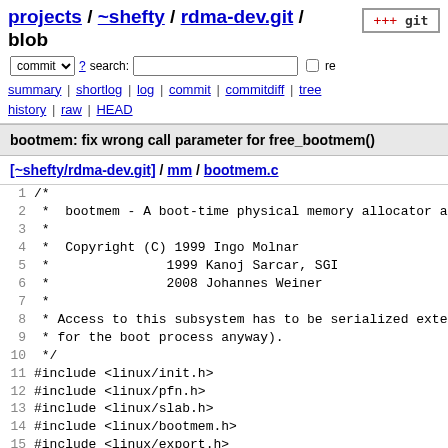projects / ~shefty / rdma-dev.git / blob
commit ? search: re
summary | shortlog | log | commit | commitdiff | tree history | raw | HEAD
bootmem: fix wrong call parameter for free_bootmem()
[~shefty/rdma-dev.git] / mm / bootmem.c
[Figure (screenshot): Source code listing of bootmem.c lines 1-19, showing C file header comment and #include statements]
1  /*
2  *  bootmem - A boot-time physical memory allocator and
3  *
4  *  Copyright (C) 1999 Ingo Molnar
5  *               1999 Kanoj Sarcar, SGI
6  *               2008 Johannes Weiner
7  *
8  * Access to this subsystem has to be serialized extern
9  * for the boot process anyway).
10  */
11 #include <linux/init.h>
12 #include <linux/pfn.h>
13 #include <linux/slab.h>
14 #include <linux/bootmem.h>
15 #include <linux/export.h>
16 #include <linux/kmemleak.h>
17 #include <linux/range.h>
18 #include <linux/memblock.h>
19